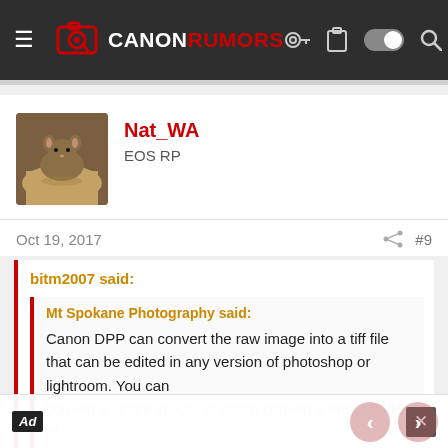[Figure (screenshot): Canon Rumors website navigation bar with logo, hamburger menu, and icons]
Nat_WA
EOS RP
Oct 19, 2017
#9
bitm2007 said:
Mt Spokane Photography said:
Canon DPP can convert the raw image into a tiff file that can be edited in any version of photoshop or lightroom. You can convert a single image, or batch convert a entire folder of